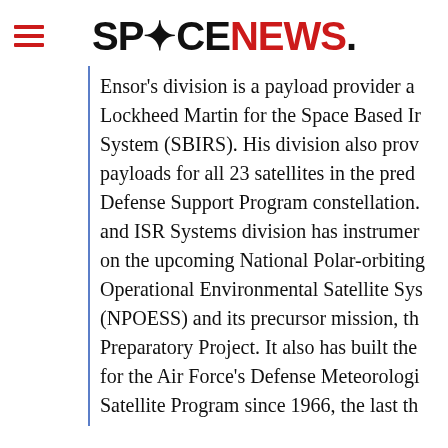SPACENEWS
Ensor's division is a payload provider a... Lockheed Martin for the Space Based Ir... System (SBIRS). His division also prov... payloads for all 23 satellites in the pred... Defense Support Program constellation. ... and ISR Systems division has instrumen... on the upcoming National Polar-orbiting... Operational Environmental Satellite Sys... (NPOESS) and its precursor mission, th... Preparatory Project. It also has built the... for the Air Force's Defense Meteorologi... Satellite Program since 1966, the last th... satellites of which will launch over the n... years. A significant portion of the divisi...